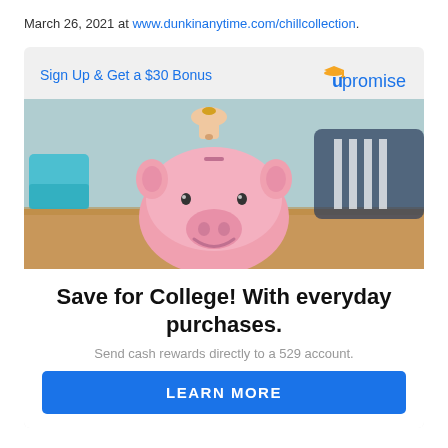March 26, 2021 at www.dunkinanytime.com/chillcollection.
Sign Up & Get a $30 Bonus
[Figure (logo): Upromise logo with graduation cap icon in orange/yellow above the letter U]
[Figure (photo): Photo of a pink piggy bank with a person's hand placing a coin in the slot. A child in a striped shirt is visible in the background. Warm wood table surface visible.]
Save for College! With everyday purchases.
Send cash rewards directly to a 529 account.
LEARN MORE